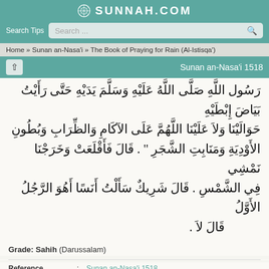SUNNAH.COM
Search Tips  Search...
Home » Sunan an-Nasa'i » The Book of Praying for Rain (Al-Istisqa')
Sunan an-Nasa'i 1518
رَسُول اللَّهِ صَلَّى اللَّهُ عَلَيْهِ وَسَلَّمَ يَدَيْهِ حَتَّى رَأَيْتُ بَيَاضَ إِبْطَيْهِ حَوَالَيْنَا وَلاَ عَلَيْنَا اللَّهُمَّ عَلَى الآكَامِ وَالظِّرَابِ وَبُطُونِ الأَوْدِيَةِ وَمَنَابِتِ الشَّجَرِ " . قَالَ فَأَقْلَعَتْ وَخَرَجْنَا نَمْشِي فِي الشَّمْسِ . قَالَ شَرِيكٌ سَأَلْتُ أَنَسًا أَهُوَ الرَّجُلُ الأَوَّلُ قَالَ لاَ .
Grade: Sahih (Darussalam)
| Field |  | Value |
| --- | --- | --- |
| Reference | : | Sunan an-Nasa'i 1518 |
| In-book reference | : | Book 17, Hadith 15 |
| English translation | : | Vol. 2, Book 17, Hadith 1519 |